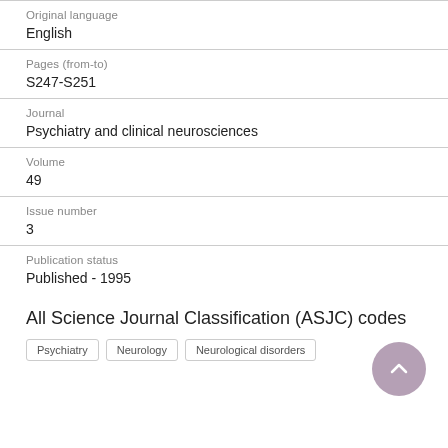Original language
English
Pages (from-to)
S247-S251
Journal
Psychiatry and clinical neurosciences
Volume
49
Issue number
3
Publication status
Published - 1995
All Science Journal Classification (ASJC) codes
[tags row — partially visible]